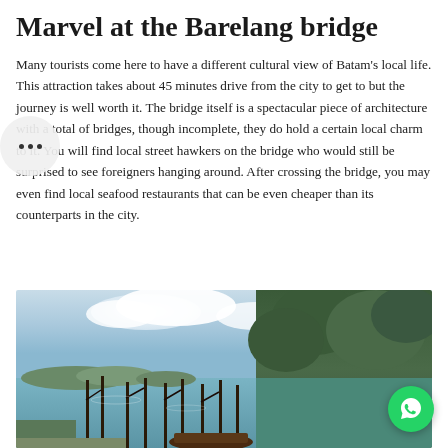Marvel at the Barelang bridge
Many tourists come here to have a different cultural view of Batam's local life. This attraction takes about 45 minutes drive from the city to get to but the journey is well worth it. The bridge itself is a spectacular piece of architecture with a total of bridges, though incomplete, they do hold a certain local charm to it. You will find local street hawkers on the bridge who would still be surprised to see foreigners hanging around. After crossing the bridge, you may even find local seafood restaurants that can be even cheaper than its counterparts in the city.
[Figure (photo): A coastal scene near Barelang bridge area showing calm water, wooden poles sticking out of the water, a small wooden boat on the right, lush green trees/mangroves on the right side, distant islands in the background, and a partly cloudy sky.]